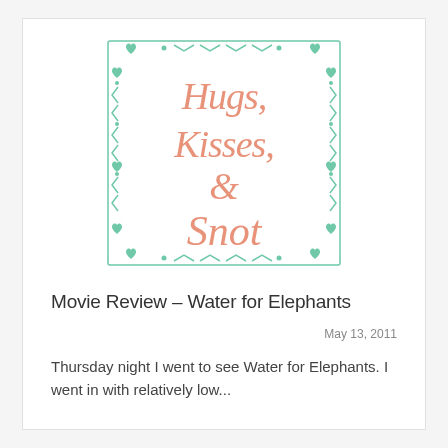[Figure (logo): Blog logo with decorative mint/teal border of hearts, arrows, and chevrons surrounding salmon/coral script text reading 'Hugs, Kisses, & Snot']
Movie Review – Water for Elephants
May 13, 2011
Thursday night I went to see Water for Elephants. I went in with relatively low...